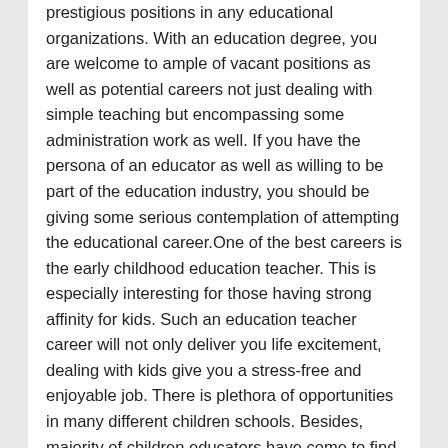prestigious positions in any educational organizations. With an education degree, you are welcome to ample of vacant positions as well as potential careers not just dealing with simple teaching but encompassing some administration work as well. If you have the persona of an educator as well as willing to be part of the education industry, you should be giving some serious contemplation of attempting the educational career.One of the best careers is the early childhood education teacher. This is especially interesting for those having strong affinity for kids. Such an education teacher career will not only deliver you life excitement, dealing with kids give you a stress-free and enjoyable job. There is plethora of opportunities in many different children schools. Besides, majority of children educators have come to find themselves enjoying their job to the extent of making the work setting their second lovely home. Nowadays, not only children schools are in need of childhood teachers, you can try out working in day care centers or child-oriented programs as well.Something above the childhood level is the elementary school education teacher. Among